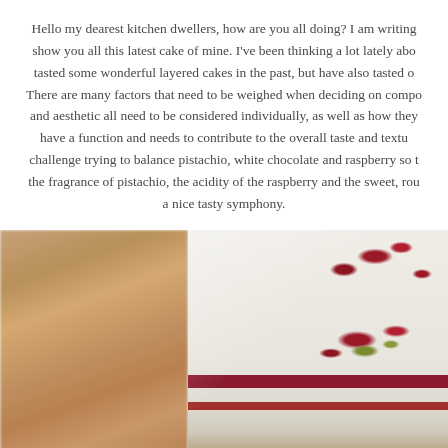Hello my dearest kitchen dwellers, how are you all doing? I am writing show you all this latest cake of mine. I've been thinking a lot lately ab tasted some wonderful layered cakes in the past, but have also tasted o There are many factors that need to be weighed when deciding on comp and aesthetic all need to be considered individually, as well as how they have a function and needs to contribute to the overall taste and textu challenge trying to balance pistachio, white chocolate and raspberry so the fragrance of pistachio, the acidity of the raspberry and the sweet, ro a nice tasty symphony.
[Figure (photo): Photo of layered cake slices topped with freeze-dried raspberries and pistachio crumble, showing white mousse layers with a raspberry jam stripe, displayed on a wooden table background]